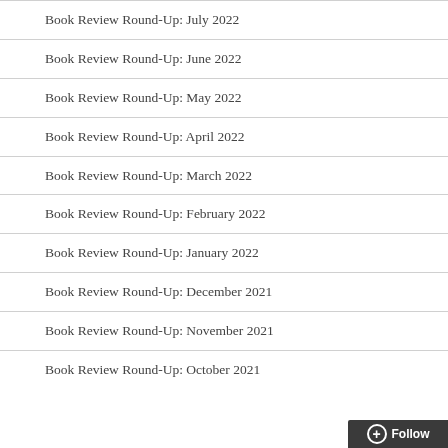Book Review Round-Up: July 2022
Book Review Round-Up: June 2022
Book Review Round-Up: May 2022
Book Review Round-Up: April 2022
Book Review Round-Up: March 2022
Book Review Round-Up: February 2022
Book Review Round-Up: January 2022
Book Review Round-Up: December 2021
Book Review Round-Up: November 2021
Book Review Round-Up: October 2021